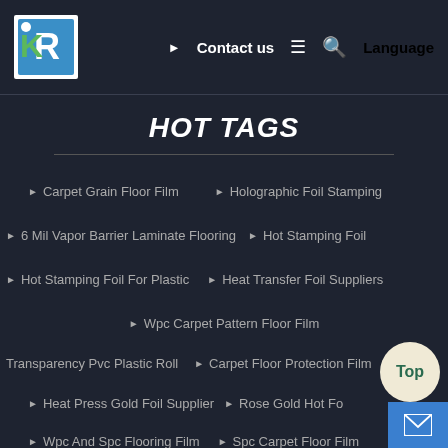Contact us  Language
HOT TAGS
Carpet Grain Floor Film
Holographic Foil Stamping
6 Mil Vapor Barrier Laminate Flooring
Hot Stamping Foil
Hot Stamping Foil For Plastic
Heat Transfer Foil Suppliers
Wpc Carpet Pattern Floor Film
Transparency Pvc Plastic Roll
Carpet Floor Protection Film
Heat Press Gold Foil Supplier
Rose Gold Hot Fo...
Wpc And Spc Flooring Film
Spc Carpet Floor Film